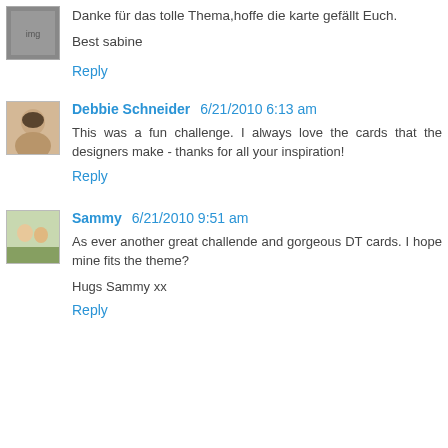[Figure (photo): Small avatar image, appears to be a card or stamp image]
Danke für das tolle Thema,hoffe die karte gefällt Euch.
Best sabine
Reply
[Figure (photo): Avatar photo of Debbie Schneider, a woman smiling]
Debbie Schneider 6/21/2010 6:13 am
This was a fun challenge. I always love the cards that the designers make - thanks for all your inspiration!
Reply
[Figure (photo): Avatar photo of Sammy, showing two children]
Sammy 6/21/2010 9:51 am
As ever another great challende and gorgeous DT cards. I hope mine fits the theme?
Hugs Sammy xx
Reply